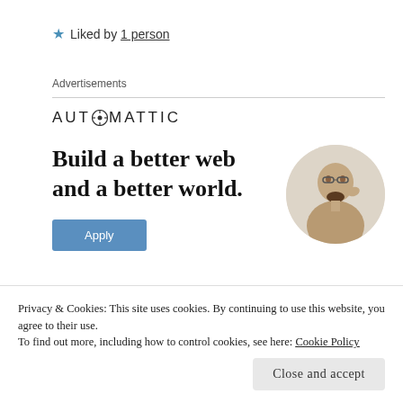★ Liked by 1 person
Advertisements
[Figure (logo): AUTOMATTIC logo with compass icon replacing the O]
Build a better web and a better world.
[Figure (photo): Circular cropped photo of a man looking upward thoughtfully, wearing a beige t-shirt]
Apply (button)
Privacy & Cookies: This site uses cookies. By continuing to use this website, you agree to their use.
To find out more, including how to control cookies, see here: Cookie Policy
Close and accept (button)